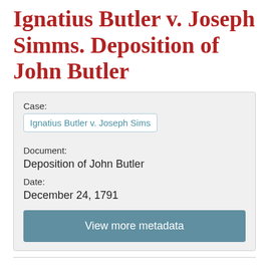Ignatius Butler v. Joseph Simms. Deposition of John Butler
| Field | Value |
| --- | --- |
| Case: | Ignatius Butler v. Joseph Sims |
| Document: | Deposition of John Butler |
| Date: | December 24, 1791 |
View more metadata
Ignatius Butler
v.
Joseph Simms.